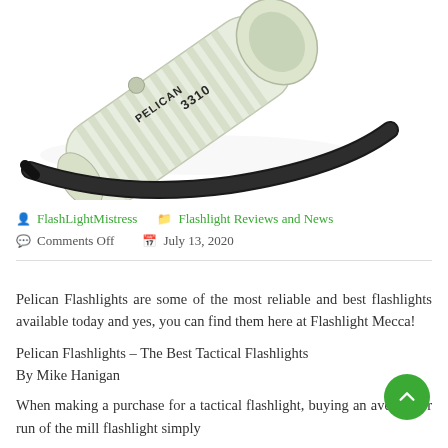[Figure (photo): A Pelican 3310 flashlight (white/glow body) with black wrist strap, shown at an angle on a white background. The text 'PELICAN 3310' is visible on the flashlight body.]
FlashLightMistress   Flashlight Reviews and News   Comments Off   July 13, 2020
Pelican Flashlights are some of the most reliable and best flashlights available today and yes, you can find them here at Flashlight Mecca!
Pelican Flashlights – The Best Tactical Flashlights
By Mike Hanigan
When making a purchase for a tactical flashlight, buying an average or run of the mill flashlight simply